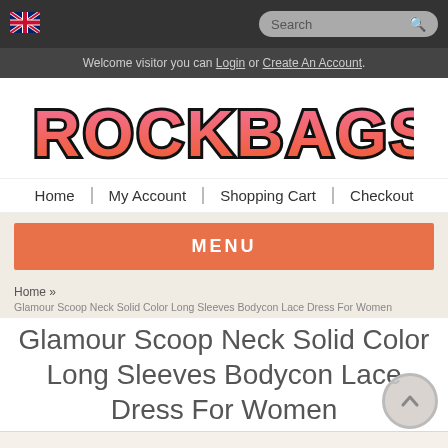[Figure (screenshot): UK flag icon in top navigation bar]
Search
Welcome visitor you can Login or Create An Account.
[Figure (logo): IROCKBAGS logo with pink-to-orange gradient text and black outline]
Home | My Account | Shopping Cart | Checkout
MENU
Home »
Glamour Scoop Neck Solid Color Long Sleeves Bodycon Lace Dress For Women
Glamour Scoop Neck Solid Color Long Sleeves Bodycon Lace Dress For Women